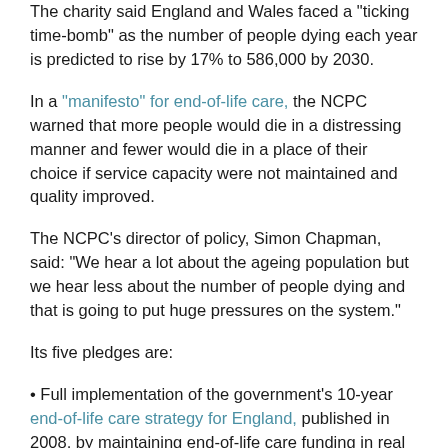The charity said England and Wales faced a “ticking time-bomb” as the number of people dying each year is predicted to rise by 17% to 586,000 by 2030.
In a “manifesto” for end-of-life care, the NCPC warned that more people would die in a distressing manner and fewer would die in a place of their choice if service capacity were not maintained and quality improved.
The NCPC’s director of policy, Simon Chapman, said: “We hear a lot about the ageing population but we hear less about the number of people dying and that is going to put huge pressures on the system.”
Its five pledges are:
• Full implementation of the government’s 10-year end-of-life care strategy for England, published in 2008, by maintaining end-of-life care funding in real terms at 2010-11 levels, taking account of the rising number of deaths.